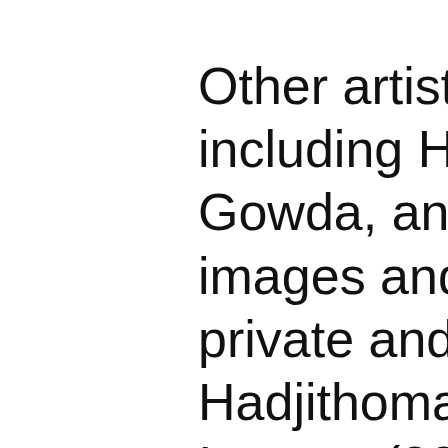Other artists in the e including Hadjithom Gowda, and Gill—u images and materia private and public e Hadjithomas and Jo Images (2003) is a based on Super 8 m